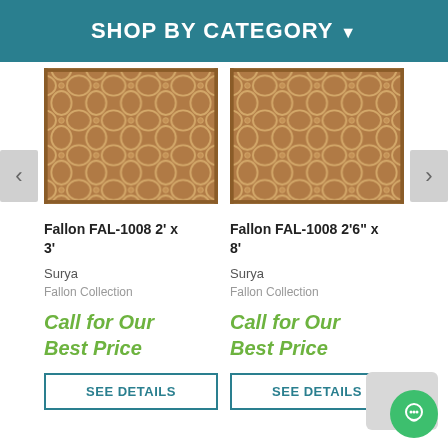SHOP BY CATEGORY ▾
[Figure (photo): Brown geometric trellis patterned rug (Fallon FAL-1008 2' x 3')]
Fallon FAL-1008 2' x 3'
Surya
Fallon Collection
Call for Our Best Price
SEE DETAILS
[Figure (photo): Brown geometric trellis patterned rug (Fallon FAL-1008 2'6" x 8')]
Fallon FAL-1008 2'6" x 8'
Surya
Fallon Collection
Call for Our Best Price
SEE DETAILS